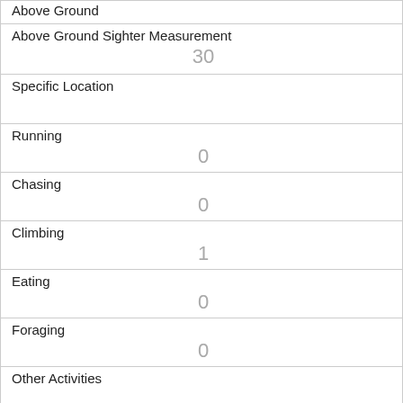| Above Ground |
| Above Ground Sighter Measurement
30 |
| Specific Location
 |
| Running
0 |
| Chasing
0 |
| Climbing
1 |
| Eating
0 |
| Foraging
0 |
| Other Activities
 |
| Kuks
0 |
| Quaas
0 |